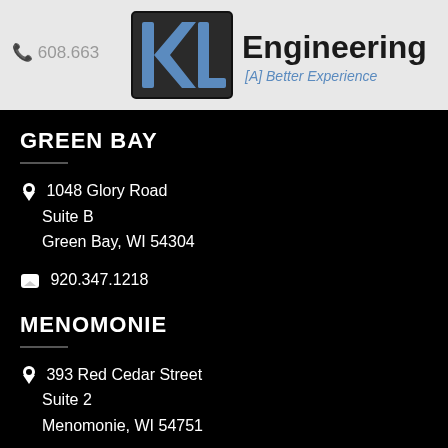[Figure (logo): KL Engineering logo with tagline [A] Better Experience]
608.663
GREEN BAY
1048 Glory Road
Suite B
Green Bay, WI 54304
920.347.1218
MENOMONIE
393 Red Cedar Street
Suite 2
Menomonie, WI 54751